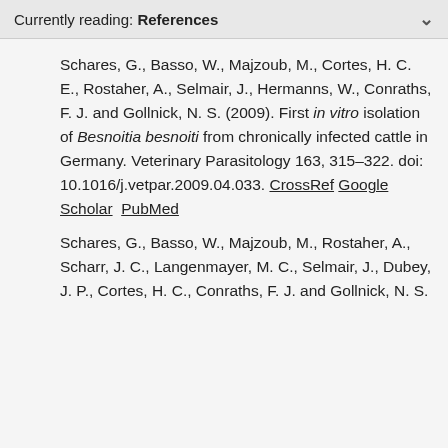Currently reading: References
Schares, G., Basso, W., Majzoub, M., Cortes, H. C. E., Rostaher, A., Selmair, J., Hermanns, W., Conraths, F. J. and Gollnick, N. S. (2009). First in vitro isolation of Besnoitia besnoiti from chronically infected cattle in Germany. Veterinary Parasitology 163, 315–322. doi: 10.1016/j.vetpar.2009.04.033. CrossRef Google Scholar PubMed
Schares, G., Basso, W., Majzoub, M., Rostaher, A., Scharr, J. C., Langenmayer, M. C., Selmair, J., Dubey, J. P., Cortes, H. C., Conraths, F. J. and Gollnick, N. S.